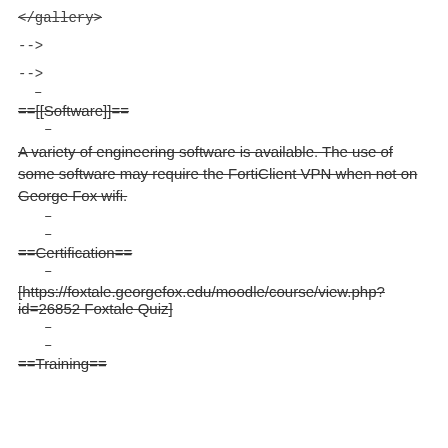</gallery>
-->
-->
–
==[[Software]]==
–
A variety of engineering software is available. The use of some software may require the FortiClient VPN when not on George Fox wifi.
–
–
==Certification==
–
[https://foxtale.georgefox.edu/moodle/course/view.php?id=26852 Foxtale Quiz]
–
–
==Training==